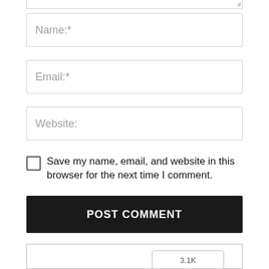[Figure (screenshot): Top portion of a textarea input field (bottom edge visible with resize handle)]
Name:*
Email:*
Website:
Save my name, email, and website in this browser for the next time I comment.
POST COMMENT
[Figure (screenshot): Facebook social plugin widget showing 3.1K count, Recommend button, and Share button]